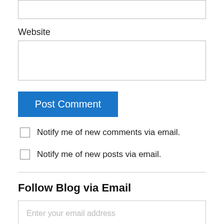Website
Post Comment
Notify me of new comments via email.
Notify me of new posts via email.
Follow Blog via Email
Enter your email address
Follow